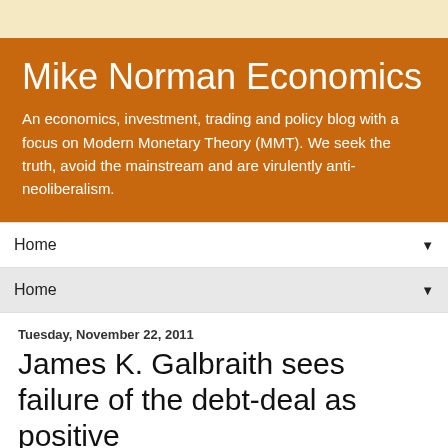Mike Norman Economics
An economics, investment, trading and policy blog with a focus on Modern Monetary Theory (MMT). We seek the truth, avoid the mainstream and are virulently anti-neoliberalism.
Home
Home
Tuesday, November 22, 2011
James K. Galbraith sees failure of the debt-deal as positive